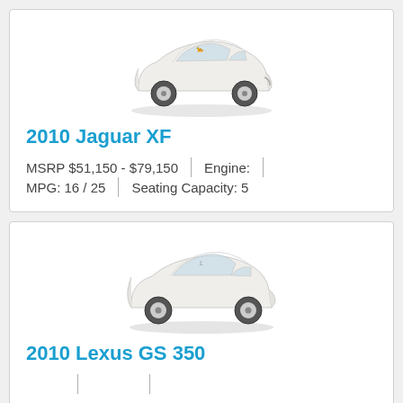[Figure (photo): White 2010 Jaguar XF sedan, side/front 3/4 view on white background]
2010 Jaguar XF
MSRP $51,150 - $79,150 | Engine: | MPG: 16 / 25 | Seating Capacity: 5
[Figure (photo): White 2010 Lexus GS 350 sedan, side/front 3/4 view on white background]
2010 Lexus GS 350